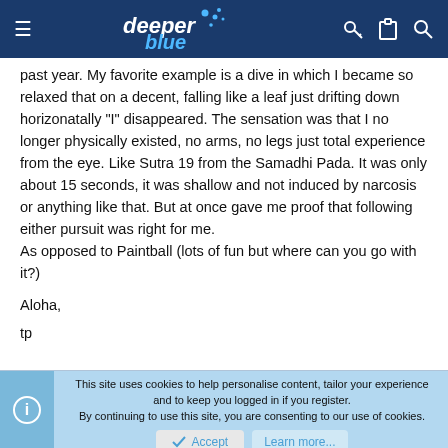deeper blue (logo with navigation icons)
past year. My favorite example is a dive in which I became so relaxed that on a decent, falling like a leaf just drifting down horizonatally "I" disappeared. The sensation was that I no longer physically existed, no arms, no legs just total experience from the eye. Like Sutra 19 from the Samadhi Pada. It was only about 15 seconds, it was shallow and not induced by narcosis or anything like that. But at once gave me proof that following either pursuit was right for me.
As opposed to Paintball (lots of fun but where can you go with it?)
Aloha,
tp
This site uses cookies to help personalise content, tailor your experience and to keep you logged in if you register.
By continuing to use this site, you are consenting to our use of cookies.